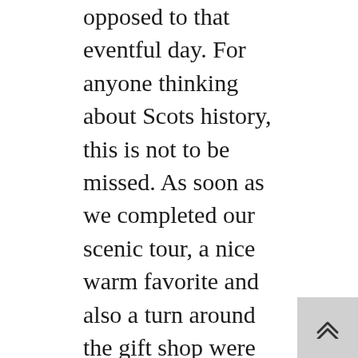opposed to that eventful day. For anyone thinking about Scots history, this is not to be missed. As soon as we completed our scenic tour, a nice warm favorite and also a turn around the gift shop were in order.
It was early in the day, and also our next quit was Cawdor Castle and Gardens. The household still lives there. Both your home and yards were sophisticated, however not excessive. The home furnishings are there to match the family members. The estate began life as a fortress 600 years back. There are 3 fairy tale-like gardens where roses